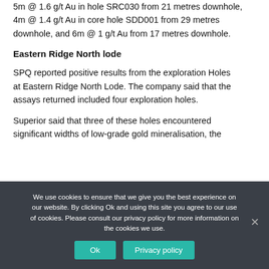5m @ 1.6 g/t Au in hole SRC030 from 21 metres downhole, 4m @ 1.4 g/t Au in core hole SDD001 from 29 metres downhole, and 6m @ 1 g/t Au from 17 metres downhole.
Eastern Ridge North lode
SPQ reported positive results from the exploration Holes at Eastern Ridge North Lode. The company said that the assays returned included four exploration holes.
Superior said that three of these holes encountered significant widths of low-grade gold mineralisation, the
We use cookies to ensure that we give you the best experience on our website. By clicking Ok and using this site you agree to our use of cookies. Please consult our privacy policy for more information on the cookies we use.